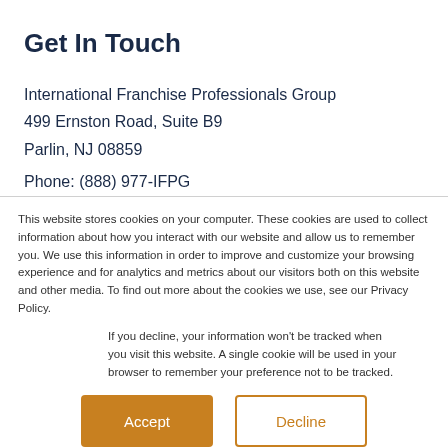Get In Touch
International Franchise Professionals Group
499 Ernston Road, Suite B9
Parlin, NJ 08859
Phone: (888) 977-IFPG
This website stores cookies on your computer. These cookies are used to collect information about how you interact with our website and allow us to remember you. We use this information in order to improve and customize your browsing experience and for analytics and metrics about our visitors both on this website and other media. To find out more about the cookies we use, see our Privacy Policy.
If you decline, your information won't be tracked when you visit this website. A single cookie will be used in your browser to remember your preference not to be tracked.